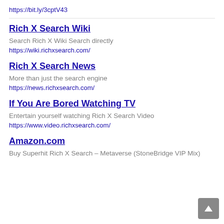https://bit.ly/3cptV43
Rich X Search Wiki
Search Rich X Wiki Search directly
https://wiki.richxsearch.com/
Rich X Search News
More than just the search engine
https://news.richxsearch.com/
If You Are Bored Watching TV
Entertain yourself watching Rich X Search Video
https://www.video.richxsearch.com/
Amazon.com
Buy Superhit Rich X Search – Metaverse (StoneBridge VIP Mix)